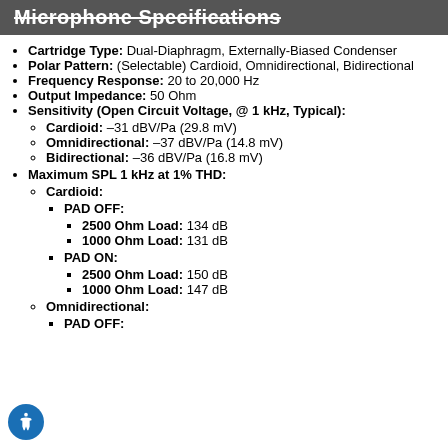Microphone Specifications
Cartridge Type: Dual-Diaphragm, Externally-Biased Condenser
Polar Pattern: (Selectable) Cardioid, Omnidirectional, Bidirectional
Frequency Response: 20 to 20,000 Hz
Output Impedance: 50 Ohm
Sensitivity (Open Circuit Voltage, @ 1 kHz, Typical):
Cardioid: –31 dBV/Pa (29.8 mV)
Omnidirectional: –37 dBV/Pa (14.8 mV)
Bidirectional: –36 dBV/Pa (16.8 mV)
Maximum SPL 1 kHz at 1% THD:
Cardioid:
PAD OFF:
2500 Ohm Load: 134 dB
1000 Ohm Load: 131 dB
PAD ON:
2500 Ohm Load: 150 dB
1000 Ohm Load: 147 dB
Omnidirectional:
PAD OFF: